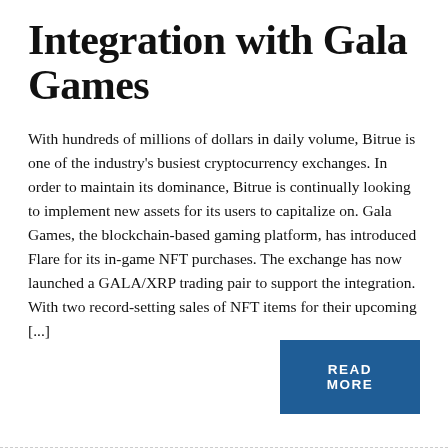Integration with Gala Games
With hundreds of millions of dollars in daily volume, Bitrue is one of the industry's busiest cryptocurrency exchanges. In order to maintain its dominance, Bitrue is continually looking to implement new assets for its users to capitalize on. Gala Games, the blockchain-based gaming platform, has introduced Flare for its in-game NFT purchases. The exchange has now launched a GALA/XRP trading pair to support the integration. With two record-setting sales of NFT items for their upcoming [...]